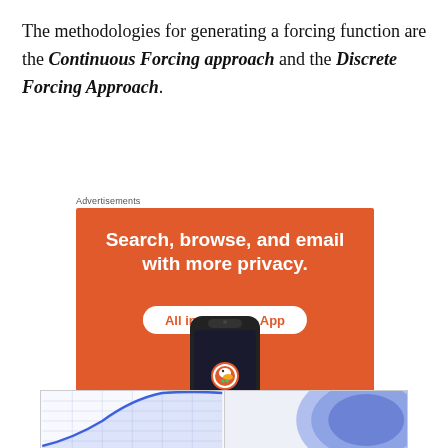The methodologies for generating a forcing function are the Continuous Forcing approach and the Discrete Forcing Approach.
Advertisements
[Figure (illustration): DuckDuckGo advertisement banner on orange background. Text reads 'Search, browse, and email with more privacy. All in One Free App'. Shows a smartphone with DuckDuckGo duck logo and 'DuckDuckGo.' branding.]
REPORT THIS AD
[Figure (illustration): Partially visible image at bottom of page showing what appears to be a scientific chart or figure on the left side and a blue circular graphic on the right side.]